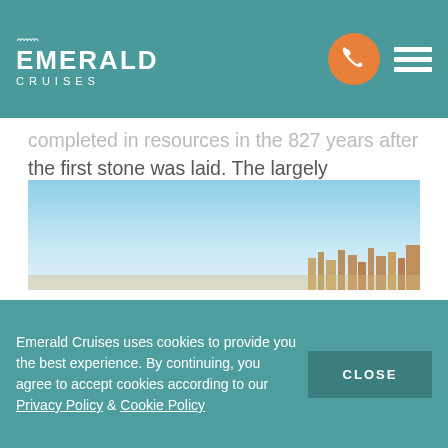EMERALD CRUISES
completed in resources in the 827 years after the first stone was laid. The largely undecorated façade of the cathedral provides a decidedly fortified appearance – guarding over the historic centre of Porto.
[Figure (photo): Photo of Porto skyline with cathedral towers visible against a clear blue sky]
Emerald Cruises uses cookies to provide you the best experience. By continuing, you agree to accept cookies according to our Privacy Policy & Cookie Policy